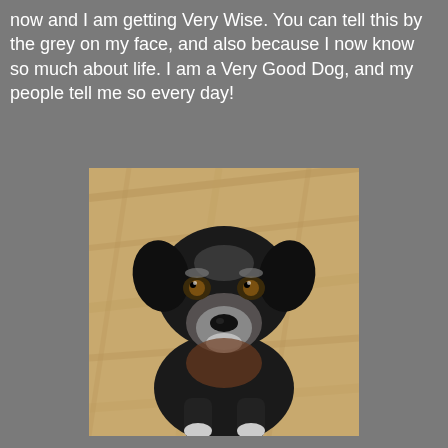now and I am getting Very Wise. You can tell this by the grey on my face, and also because I now know so much about life. I am a Very Good Dog, and my people tell me so every day!
[Figure (photo): A senior black dog with grey muzzle and white markings sitting on a light wood floor, looking up at the camera with amber eyes.]